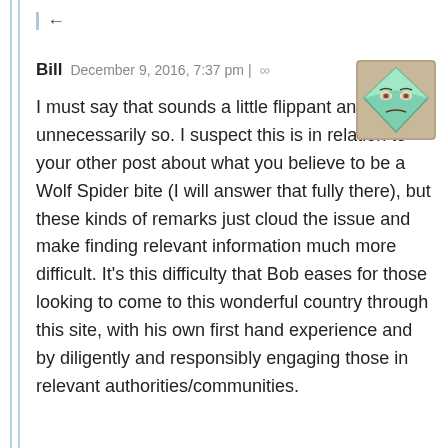←
Bill  December 9, 2016, 7:37 pm | ∞
[Figure (illustration): Avatar image of a stylized cartoon diamond/kite shaped face with green color on a beige/tan background, showing eyes and a slight frown expression.]
I must say that sounds a little flippant and quite unnecessarily so. I suspect this is in relation to your other post about what you believe to be a Wolf Spider bite (I will answer that fully there), but these kinds of remarks just cloud the issue and make finding relevant information much more difficult. It's this difficulty that Bob eases for those looking to come to this wonderful country through this site, with his own first hand experience and by diligently and responsibly engaging those in relevant authorities/communities.